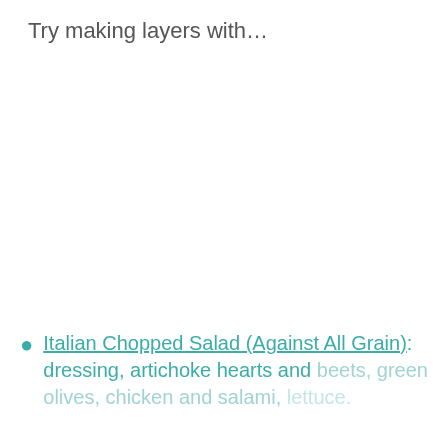Try making layers with…
Italian Chopped Salad (Against All Grain): dressing, artichoke hearts and beets, green olives, chicken and salami, lettuce.